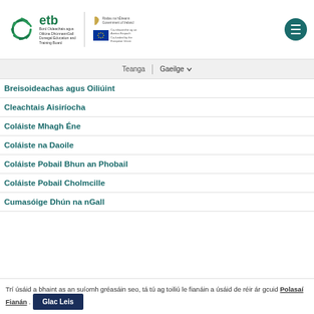[Figure (logo): ETB Donegal Education and Training Board logo with swirl emblem, Irish Government harp logo, and EU co-funded flag]
Teanga | Gaeilge
Breisoideachas agus Oiliúint
Cleachtais Aisiríocha
Coláiste Mhagh Éne
Coláiste na Daoile
Coláiste Pobail Bhun an Phobail
Coláiste Pobail Cholmcille
Cumasóige Dhún na nGall
Trí úsáid a bhaint as an suíomh gréasáin seo, tá tú ag toiliú le fianáin a úsáid de réir ár gcuid Polasaí Fianán . Glac Leis